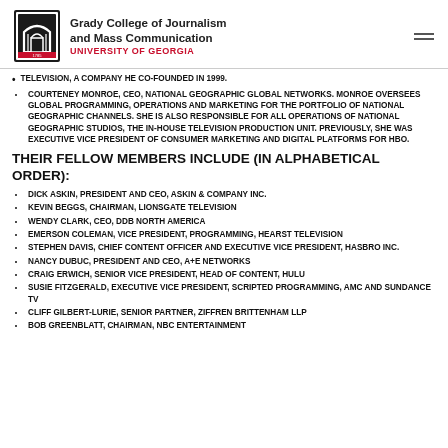Grady College of Journalism and Mass Communication — UNIVERSITY OF GEORGIA
TELEVISION, A COMPANY HE CO-FOUNDED IN 1999.
COURTENEY MONROE, CEO, NATIONAL GEOGRAPHIC GLOBAL NETWORKS. MONROE OVERSEES GLOBAL PROGRAMMING, OPERATIONS AND MARKETING FOR THE PORTFOLIO OF NATIONAL GEOGRAPHIC CHANNELS. SHE IS ALSO RESPONSIBLE FOR ALL OPERATIONS OF NATIONAL GEOGRAPHIC STUDIOS, THE IN-HOUSE TELEVISION PRODUCTION UNIT. PREVIOUSLY, SHE WAS EXECUTIVE VICE PRESIDENT OF CONSUMER MARKETING AND DIGITAL PLATFORMS FOR HBO.
THEIR FELLOW MEMBERS INCLUDE (IN ALPHABETICAL ORDER):
DICK ASKIN, PRESIDENT AND CEO, ASKIN & COMPANY INC.
KEVIN BEGGS, CHAIRMAN, LIONSGATE TELEVISION
WENDY CLARK, CEO, DDB NORTH AMERICA
EMERSON COLEMAN, VICE PRESIDENT, PROGRAMMING, HEARST TELEVISION
STEPHEN DAVIS, CHIEF CONTENT OFFICER AND EXECUTIVE VICE PRESIDENT, HASBRO INC.
NANCY DUBUC, PRESIDENT AND CEO, A+E NETWORKS
CRAIG ERWICH, SENIOR VICE PRESIDENT, HEAD OF CONTENT, HULU
SUSIE FITZGERALD, EXECUTIVE VICE PRESIDENT, SCRIPTED PROGRAMMING, AMC AND SUNDANCE TV
CLIFF GILBERT-LURIE, SENIOR PARTNER, ZIFFREN BRITTENHAM LLP
BOB GREENBLATT, CHAIRMAN, NBC ENTERTAINMENT